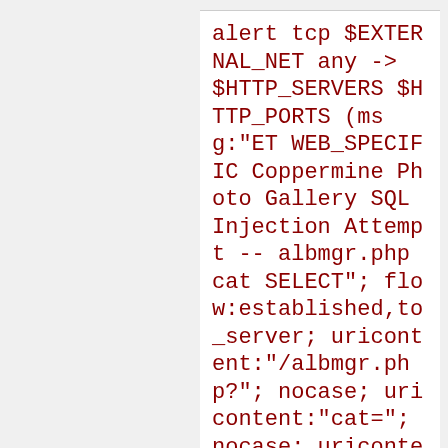alert tcp $EXTERNAL_NET any -> $HTTP_SERVERS $HTTP_PORTS (msg:"ET WEB_SPECIFIC Coppermine Photo Gallery SQL Injection Attempt -- albmgr.php cat SELECT"; flow:established,to_server; uricontent:"/albmgr.php?"; nocase; uricontent:"cat="; nocase; uricontent:"SELECT"; nocase; pcre:"/SELECT+FROM/